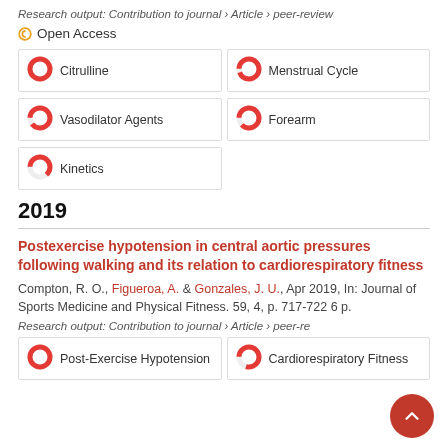Research output: Contribution to journal › Article › peer-review
Open Access
Citrulline
Menstrual Cycle
Vasodilator Agents
Forearm
Kinetics
2019
Postexercise hypotension in central aortic pressures following walking and its relation to cardiorespiratory fitness
Compton, R. O., Figueroa, A. & Gonzales, J. U., Apr 2019, In: Journal of Sports Medicine and Physical Fitness. 59, 4, p. 717-722 6 p.
Research output: Contribution to journal › Article › peer-re
Post-Exercise Hypotension
Cardiorespiratory Fitness